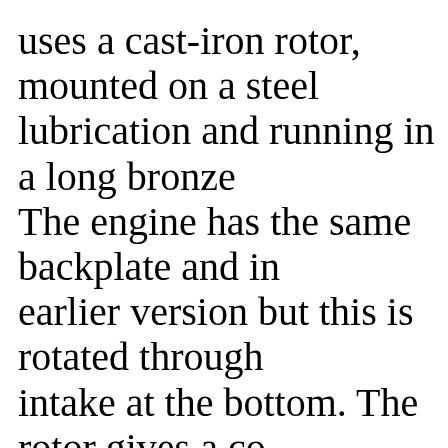uses a cast-iron rotor, mounted on a steel lubrication and running in a long bronze The engine has the same backplate and in earlier version but this is rotated through intake at the bottom. The rotor gives a co of 45-deg ABDC to 45 ATDC. The exhau also orthodox with periods of 130 and 11 rotation respectively. The motor has the w Continental European .15 bore and stroke x 14-mm (0.5905 x 0.5512-in). Weight is On its introduction, the Czechs rated the